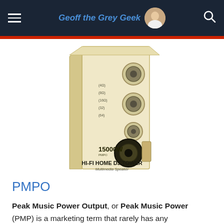Geoff the Grey Geek
[Figure (photo): A cream/beige colored Hi-Fi Home DJ Tower Multimedia Speaker box showing 15000W rating with multiple speaker circles visible on the front panel.]
PMPO
Peak Music Power Output, or Peak Music Power (PMP) is a marketing term that rarely has any resemblance to reality. I prefer to say PMPO stands for peak Marketing power output. It is a term marketers use to make their amps appear as being very powerful. The lower end of the market (like cheaper computer speakers and portable music boxes) tend